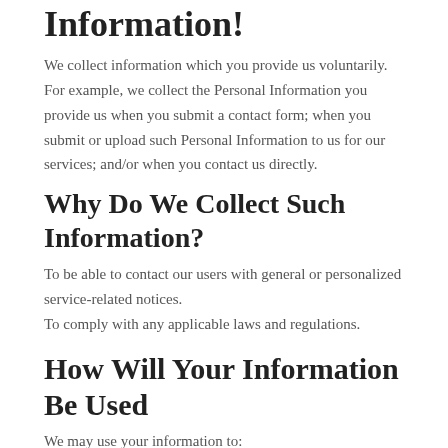Information!
We collect information which you provide us voluntarily. For example, we collect the Personal Information you provide us when you submit a contact form; when you submit or upload such Personal Information to us for our services; and/or when you contact us directly.
Why Do We Collect Such Information?
To be able to contact our users with general or personalized service-related notices.
To comply with any applicable laws and regulations.
How Will Your Information Be Used
We may use your information to: